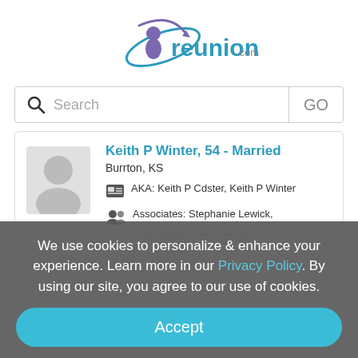[Figure (logo): reunion.com logo with stylized person/orbit graphic in teal and purple, and 'reunion.com' text]
[Figure (screenshot): Search bar with magnifying glass icon and GO button]
Keith P Winter, 54 - Married
Burrton, KS
AKA: Keith P Cdster, Keith P Winter
Associates: Stephanie Lewick, Kraig Winter, Jerry Winter,
We use cookies to personalize & enhance your experience. Learn more in our Privacy Policy. By using our site, you agree to our use of cookies.
Accept